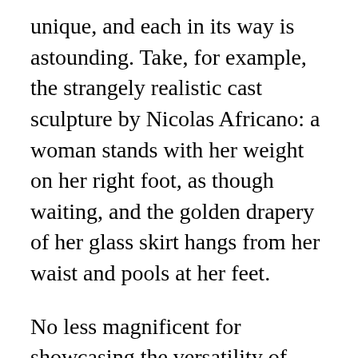unique, and each in its way is astounding. Take, for example, the strangely realistic cast sculpture by Nicolas Africano: a woman stands with her weight on her right foot, as though waiting, and the golden drapery of her glass skirt hangs from her waist and pools at her feet.

No less magnificent for showcasing the versatility of glass is the museum's innovation center. Important technical discoveries are on display, along with descriptions and recorded video interviews with inventors of some recent innovations. Most are familiar: optical lenses